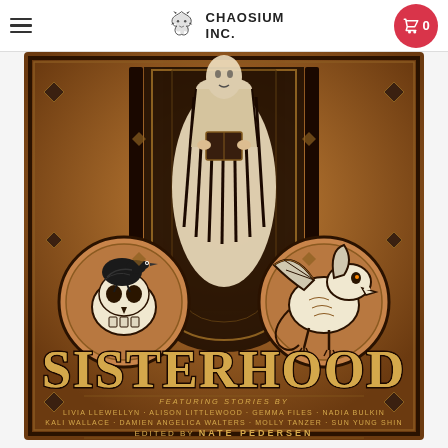Chaosium Inc. navigation header with hamburger menu, logo, and cart button showing 0 items
[Figure (illustration): Book cover for 'Sisterhood' edited by Nate Pedersen. Features a central robed figure holding a book, flanked by a skull with a crow on the left and a winged dragon on the right, on a brown/amber background. Text reads: FEATURING STORIES BY LIVIA LLEWELLYN · ALISON LITTLEWOOD · GEMMA FILES · NADIA BULKIN · KALI WALLACE · DAMIEN ANGELICA WALTERS · MOLLY TANZER · SUN YUNG SHIN EDITED BY NATE PEDERSEN]